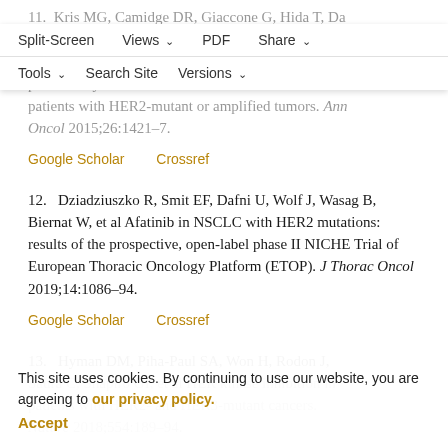11. Kris MG, Camidge DR, Giaccone G, Hida T, Da O'Connor N, et al Targeting HER2 aberrations as actionable drivers in lung cancers: phase II trial of the pan-HER tyrosine kinase inhibitor dacomitinib in patients with HER2-mutant or amplified tumors. Ann Oncol 2015;26:1421–7.
Google Scholar   Crossref
12.   Dziadziuszko R, Smit EF, Dafni U, Wolf J, Wasag B, Biernat W, et al Afatinib in NSCLC with HER2 mutations: results of the prospective, open-label phase II NICHE Trial of European Thoracic Oncology Platform (ETOP). J Thorac Oncol 2019;14:1086–94.
Google Scholar   Crossref
13.   Hyman DM, Piha-Paul SA, Won H, Rodon J, Saura C, Shapiro GI, et al HER kinase inhibition in patients with HER2- and HER3-mutant cancers. Nature 2018;554:189–94.
Google Scholar   Crossref
This site uses cookies. By continuing to use our website, you are agreeing to our privacy policy. Accept